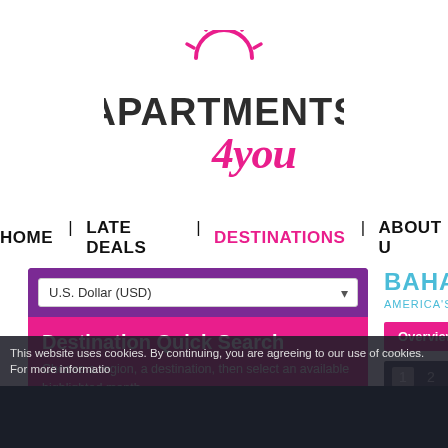[Figure (logo): Apartments4you logo: bold dark grey text 'APARTMENTS' with pink '4you' script and pink sun icon above]
HOME  |  LATE DEALS  |  DESTINATIONS  |  ABOUT U
[Figure (screenshot): Left panel with purple/pink Destination Quick Search widget including currency dropdown (U.S. Dollar USD), region dropdown (Choose a Region), and destination dropdown (Choose a Destination)]
BAHAMAS
AMERICA'S ISLANDS NEXT D
Overview  Resort Listi
1  2  3  4  5
This website uses cookies. By continuing, you are agreeing to our use of cookies. For more informatio